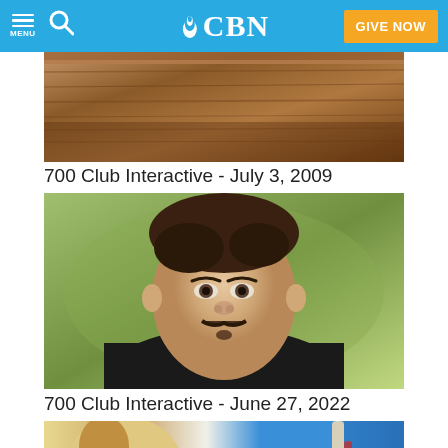CBN - MENU | GIVE NOW
[Figure (photo): Video thumbnail showing a wooden surface, partial view from 700 Club Interactive July 3 2009]
700 Club Interactive - July 3, 2009
[Figure (photo): Video thumbnail showing a young man with a mustache looking at camera, green blurred background, 700 Club Interactive June 27 2022]
700 Club Interactive - June 27, 2022
[Figure (photo): Video thumbnail showing a dog with a purple harness and a person in a blue shirt holding a rope, partially visible]